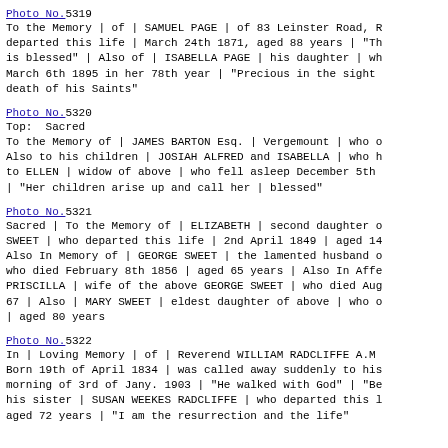Photo No.5319
To the Memory | of | SAMUEL PAGE | of 83 Leinster Road, R departed this life | March 24th 1871, aged 88 years | "Th is blessed" | Also of | ISABELLA PAGE | his daughter | wh March 6th 1895 in her 78th year | "Precious in the sight death of his Saints"
Photo No.5320
Top: Sacred
To the Memory of | JAMES BARTON Esq. | Vergemount | who o Also to his children | JOSIAH ALFRED and ISABELLA | who h to ELLEN | widow of above | who fell asleep December 5th | "Her children arise up and call her | blessed"
Photo No.5321
Sacred | To the Memory of | ELIZABETH | second daughter o SWEET | who departed this life | 2nd April 1849 | aged 14 Also In Memory of | GEORGE SWEET | the lamented husband o who died February 8th 1856 | aged 65 years | Also In Affe PRISCILLA | wife of the above GEORGE SWEET | who died Aug 67 | Also | MARY SWEET | eldest daughter of above | who o | aged 80 years
Photo No.5322
In | Loving Memory | of | Reverend WILLIAM RADCLIFFE A.M Born 19th of April 1834 | was called away suddenly to his morning of 3rd of Jany. 1903 | "He walked with God" | "Be his sister | SUSAN WEEKES RADCLIFFE | who departed this l aged 72 years | "I am the resurrection and the life"